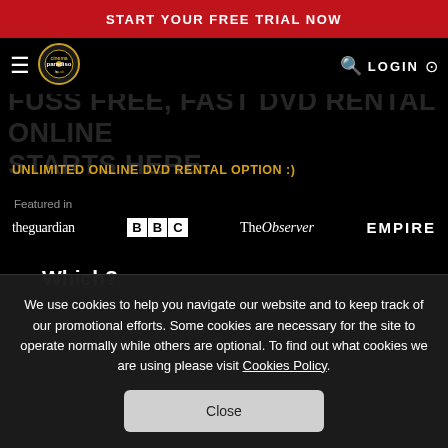START YOUR FREE TRIAL NOW
[Figure (logo): Cinema Paradiso logo - circular gold/black emblem with cinemaparadiso.co.uk text]
FUSS FREE, FAST DVD RENTAL ONLINE STARTS HERE.
LOGIN
UNLIMITED ONLINE DVD RENTAL OPTION :)
Featured in
theguardian  BBC  The Observer  EMPIRE
Which?
We use cookies to help you navigate our website and to keep track of our promotional efforts. Some cookies are necessary for the site to operate normally while others are optional. To find out what cookies we are using please visit Cookies Policy.
Close